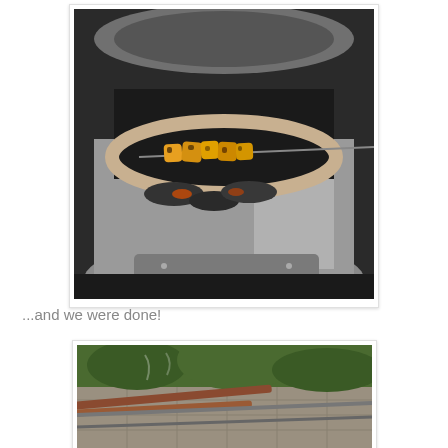[Figure (photo): A top-down view of a tandoor or charcoal grill with a metal lid partially open, showing skewered food (kebabs) roasting over glowing charcoal inside the round clay-lined chamber.]
...and we were done!
[Figure (photo): A partial view of a grill or outdoor cooking setup, showing metal rods/skewers resting on a grate with greenery visible in the background.]